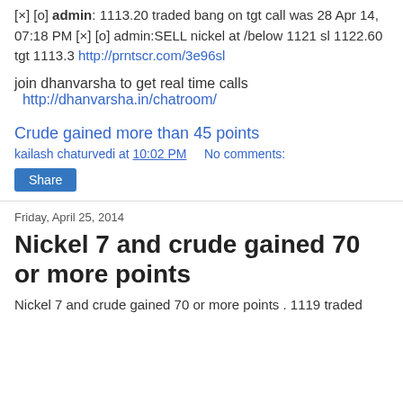[×] [o] admin: 1113.20 traded bang on tgt call was 28 Apr 14, 07:18 PM [×] [o] admin:SELL nickel at /below 1121 sl 1122.60 tgt 1113.3 http://prntscr.com/3e96sl
join dhanvarsha to get real time calls
  http://dhanvarsha.in/chatroom/
Crude gained more than 45 points
kailash chaturvedi at 10:02 PM   No comments:
Share
Friday, April 25, 2014
Nickel 7 and crude gained 70 or more points
Nickel 7 and crude gained 70 or more points . 1119 traded